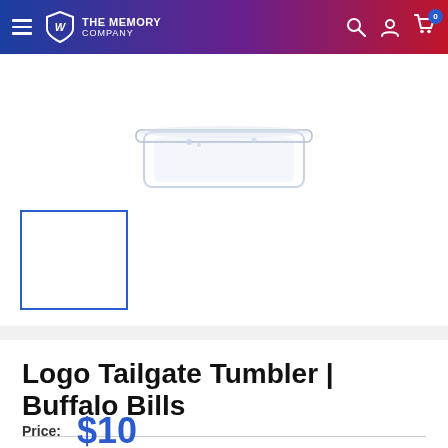THE MEMORY COMPANY
[Figure (photo): Product image of a glass tumbler, partially visible at top of page, with transparent/frosted appearance]
[Figure (photo): Thumbnail image placeholder with blue border for Logo Tailgate Tumbler Buffalo Bills product]
Logo Tailgate Tumbler | Buffalo Bills
Price: $10